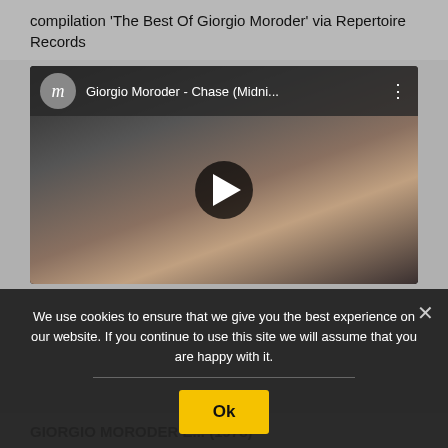compilation 'The Best Of Giorgio Moroder' via Repertoire Records
[Figure (screenshot): YouTube video embed showing Giorgio Moroder - Chase (Midni... with two men on a TV show stage, one holding a microphone, the other holding an Oscar statuette]
We use cookies to ensure that we give you the best experience on our website. If you continue to use this site we will assume that you are happy with it.
Ok
GIORGIO MORODER E... (1978)